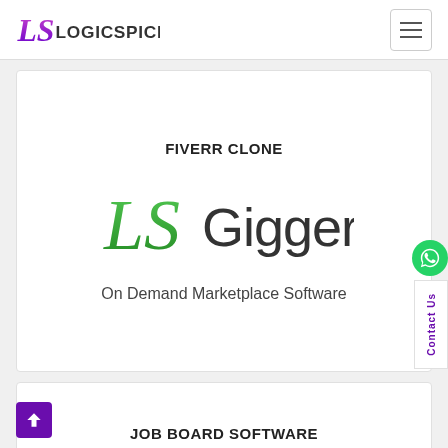LogicSpice
FIVERR CLONE
[Figure (logo): LS Gigger logo — 'LS' in green cursive style followed by 'Gigger' in dark sans-serif text]
On Demand Marketplace Software
JOB BOARD SOFTWARE